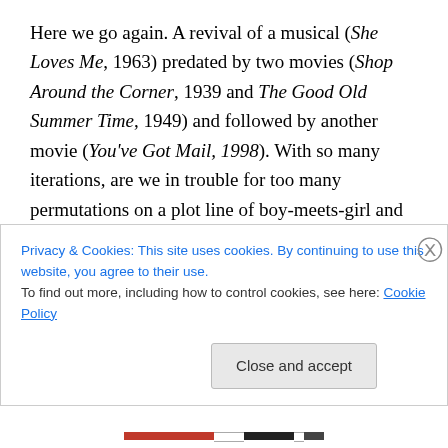Here we go again. A revival of a musical (She Loves Me, 1963) predated by two movies (Shop Around the Corner, 1939 and The Good Old Summer Time, 1949) and followed by another movie (You've Got Mail, 1998). With so many iterations, are we in trouble for too many permutations on a plot line of boy-meets-girl and girl-meets-boy but both are in love with their imagination of whom they believe the other to be but can't stand each other when they work with each other day to day? Oh, did I mentioned that all this was based on the 1937 Hungarian
Privacy & Cookies: This site uses cookies. By continuing to use this website, you agree to their use.
To find out more, including how to control cookies, see here: Cookie Policy
Close and accept